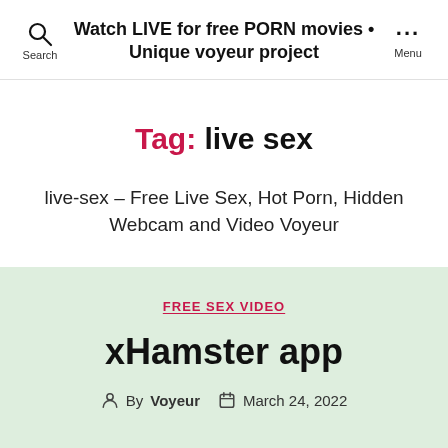Watch LIVE for free PORN movies • Unique voyeur project
Tag: live sex
live-sex – Free Live Sex, Hot Porn, Hidden Webcam and Video Voyeur
FREE SEX VIDEO
xHamster app
By Voyeur   March 24, 2022